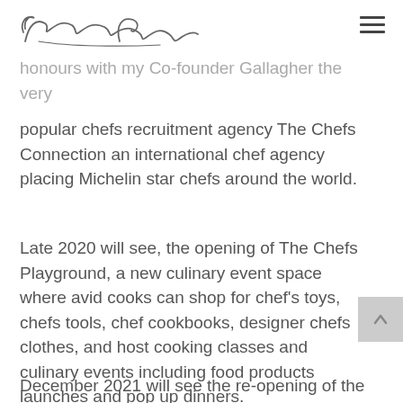Conrad Gallagher [signature logo]
popular chefs recruitment agency The Chefs Connection an international chef agency placing Michelin star chefs around the world.
Late 2020 will see, the opening of The Chefs Playground, a new culinary event space where avid cooks can shop for chef's toys, chefs tools, chef cookbooks, designer chefs clothes, and host cooking classes and culinary events including food products launches and pop up dinners.
December 2021 will see the re-opening of the